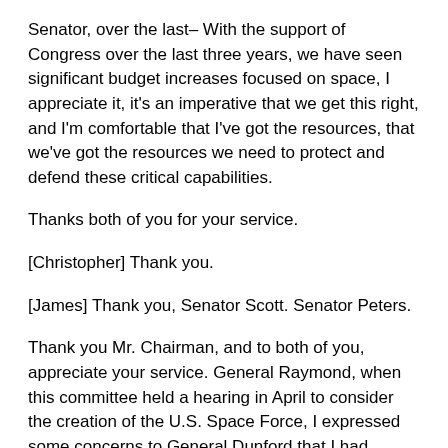Senator, over the last– With the support of Congress over the last three years, we have seen significant budget increases focused on space, I appreciate it, it's an imperative that we get this right, and I'm comfortable that I've got the resources, that we've got the resources we need to protect and defend these critical capabilities.
Thanks both of you for your service.
[Christopher] Thank you.
[James] Thank you, Senator Scott. Senator Peters.
Thank you Mr. Chairman, and to both of you, appreciate your service. General Raymond, when this committee held a hearing in April to consider the creation of the U.S. Space Force, I expressed some concerns to General Dunford that I had regarding the creation of the Space Force and that it